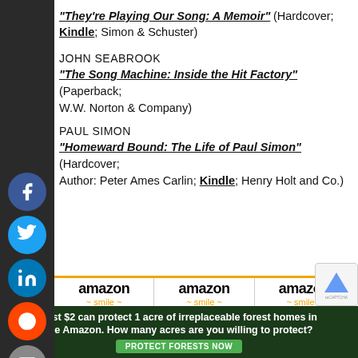"They're Playing Our Song: A Memoir" (Hardcover; Kindle; Simon & Schuster)
JOHN SEABROOK
"The Song Machine: Inside the Hit Factory" (Paperback; W.W. Norton & Company)
PAUL SIMON
Homeward Bound: The Life of Paul Simon" (Hardcover; Author: Peter Ames Carlin; Kindle; Henry Holt and Co.)
[Figure (other): Three Amazon product listings showing book covers: Homeward Bound (Paul Simon biography), Maybe I'm Doing It Wrong (Randy Newman), Without Getting Killed]
Homeward Bound The...
Maybe I'm Doing It Wrong The...
Without Getting Killed...
Just $2 can protect 1 acre of irreplaceable forest homes in the Amazon. How many acres are you willing to protect?